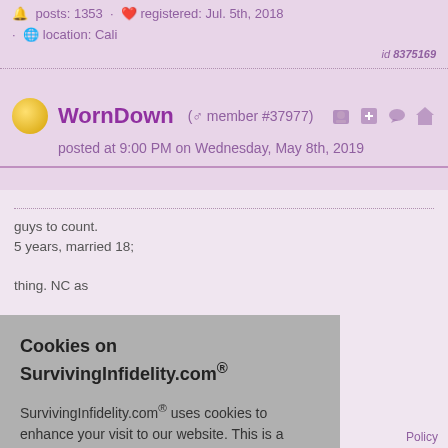posts: 1353 · registered: Jul. 5th, 2018 · location: Cali
id 8375169
WornDown (male member #37977) posted at 9:00 PM on Wednesday, May 8th, 2019
guys to count. 5 years, married 18;
thing. NC as
Cookies on SurvivingInfidelity.com®
SurvivingInfidelity.com® uses cookies to enhance your visit to our website. This is a requirement for participants to login, post and use other features. Visitors may opt out, but the website will be less functional for you.
accept
decline
about cookies
Policy